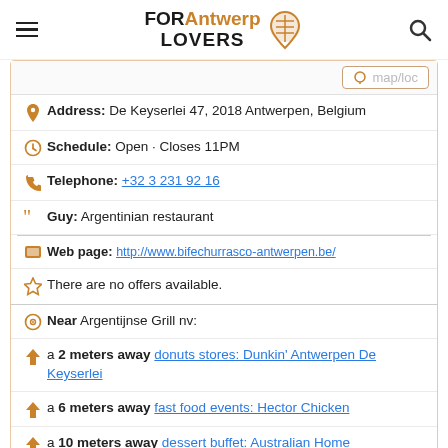FOR Antwerp LOVERS
Address: De Keyserlei 47, 2018 Antwerpen, Belgium
Schedule: Open · Closes 11PM
Telephone: +32 3 231 92 16
Guy: Argentinian restaurant
Web page: http://www.bifechurrasco-antwerpen.be/
There are no offers available.
Near Argentijnse Grill nv:
a 2 meters away donuts stores: Dunkin' Antwerpen De Keyserlei
a 6 meters away fast food events: Hector Chicken
a 10 meters away dessert buffet: Australian Home